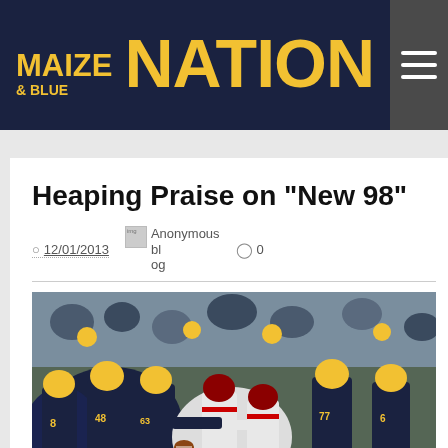MAIZE & BLUE NATION
Heaping Praise on "New 98"
12/01/2013   Anonymous blog   0
[Figure (photo): Football game action photo showing Michigan Wolverines players in navy and yellow uniforms in a pile-up against Ohio State players in white and red uniforms, during an outdoor game with a crowd in background]